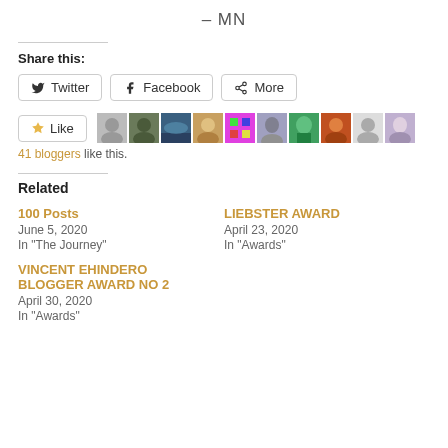– MN
Share this:
Twitter
Facebook
More
Like
41 bloggers like this.
Related
100 Posts
June 5, 2020
In "The Journey"
LIEBSTER AWARD
April 23, 2020
In "Awards"
VINCENT EHINDERO BLOGGER AWARD NO 2
April 30, 2020
In "Awards"